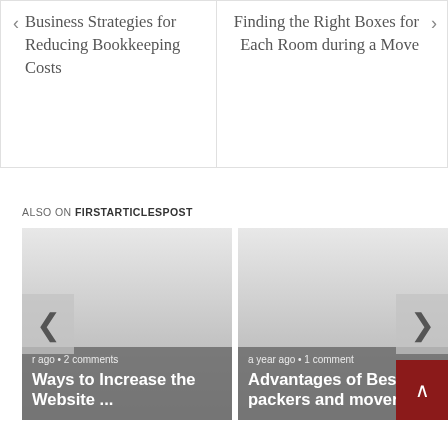Business Strategies for Reducing Bookkeeping Costs
Finding the Right Boxes for Each Room during a Move
ALSO ON FIRSTARTICLESPOST
[Figure (screenshot): Article card: Ways to Increase the Website ... — a year ago • 2 comments]
[Figure (screenshot): Article card: Advantages of Best packers and movers ... — a year ago • 1 comment]